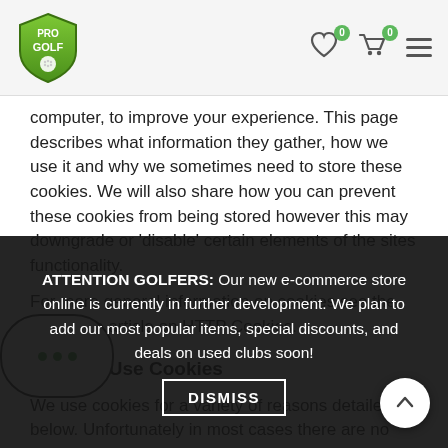PRO GOLF [logo with shield]
computer, to improve your experience. This page describes what information they gather, how we use it and why we sometimes need to store these cookies. We will also share how you can prevent these cookies from being stored however this may downgrade or 'disable' certain elements of the sites functionality.
For more general information on cookies see the Wikipedia article on HTTP Cookies.
How We Use Cookies
We use cookies for a variety of reasons detailed below. Unfortunately in most cases there are no industry standard options for disabling cookies completely disabling the functionality and features they add. It is recommended that you leave on all cookies if you are not sure whether you need for case they are used to provide a service that you use
Disabling Cookies
ATTENTION GOLFERS: Our new e-commerce store online is currently in further development. We plan to add our most popular items, special discounts, and deals on used clubs soon!